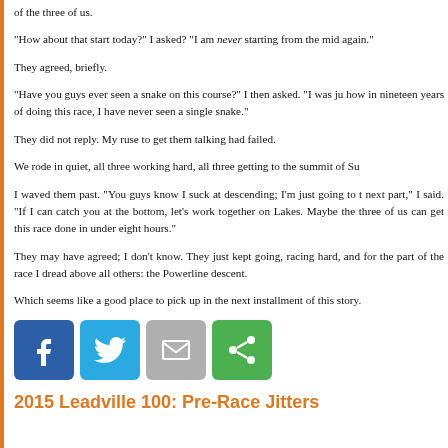of the three of us.
“How about that start today?” I asked? “I am never starting from the mid again.”
They agreed, briefly.
“Have you guys ever seen a snake on this course?” I then asked. “I was ju how in nineteen years of doing this race, I have never seen a single snake.”
They did not reply. My ruse to get them talking had failed.
We rode in quiet, all three working hard, all three getting to the summit of Su
I waved them past. “You guys know I suck at descending; I’m just going to t next part,” I said. “If I can catch you at the bottom, let’s work together on Lakes. Maybe the three of us can get this race done in under eight hours.”
They may have agreed; I don’t know. They just kept going, racing hard, and for the part of the race I dread above all others: the Powerline descent.
Which seems like a good place to pick up in the next installment of this story.
[Figure (infographic): Social sharing buttons: Facebook (blue), Twitter (light blue), Email (gray), Share (green)]
2015 Leadville 100: Pre-Race Jitters